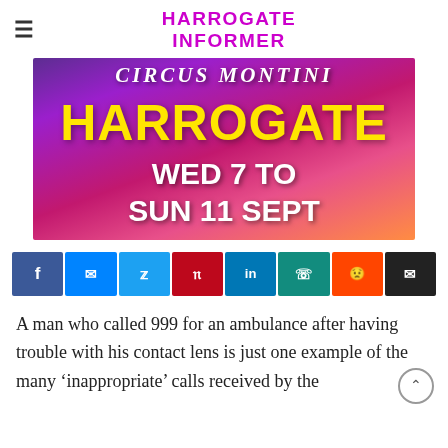HARROGATE INFORMER
[Figure (illustration): Circus Montini advertisement banner showing 'HARROGATE WED 7 to SUN 11 SEPT' in yellow and white text on a purple/pink gradient background]
[Figure (infographic): Social sharing buttons row: Facebook, Messenger, Twitter, Pinterest, LinkedIn, WhatsApp, Reddit, Email]
A man who called 999 for an ambulance after having trouble with his contact lens is just one example of the many 'inappropriate' calls received by the